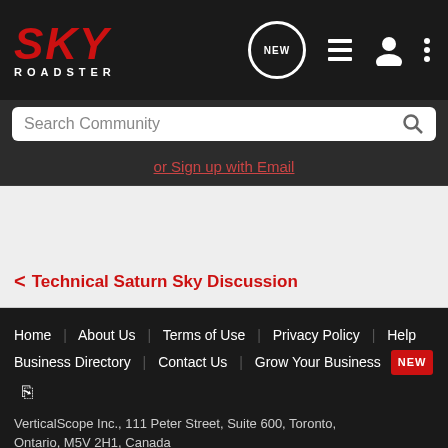[Figure (logo): Sky Roadster logo - SKY in red italic bold letters with ROADSTER in white below]
Search Community
or Sign up with Email
< Technical Saturn Sky Discussion
Home | About Us | Terms of Use | Privacy Policy | Help | Business Directory | Contact Us | Grow Your Business | NEW | RSS
VerticalScope Inc., 111 Peter Street, Suite 600, Toronto, Ontario, M5V 2H1, Canada
The Fora platform includes forum software by XenForo